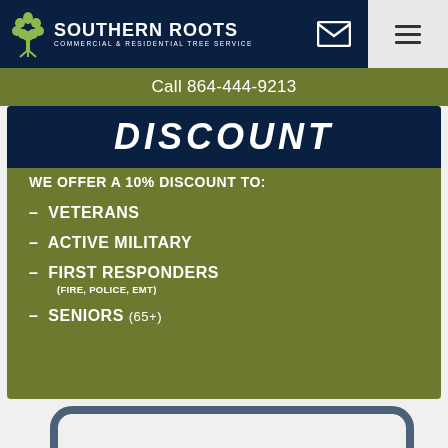Southern Roots Commercial & Residential Tree Service
Call 864-444-9213
[Figure (infographic): Olive/dark green promotional banner for Southern Roots tree service showing a 10% discount offer for Veterans, Active Military, First Responders (Fire, Police, EMT), and Seniors (65+). The word DISCOUNT appears in large bold italic white text on a dark navy background at top, with the list of eligible groups below on an olive green background.]
[Figure (other): Bottom portion of a rounded card/widget element in gray and teal/slate border, partially visible at the bottom of the page]